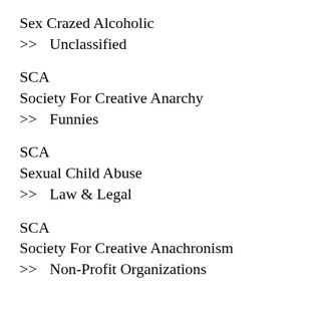Sex Crazed Alcoholic
>> Unclassified
SCA
Society For Creative Anarchy
>> Funnies
SCA
Sexual Child Abuse
>> Law & Legal
SCA
Society For Creative Anachronism
>> Non-Profit Organizations